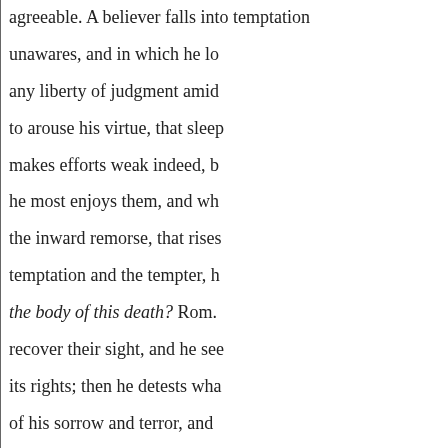agreeable. A believer falls into temptation unawares, and in which he loses any liberty of judgment amid to arouse his virtue, that sleep makes efforts weak indeed, b he most enjoys them, and wh the inward remorse, that rises temptation and the tempter, h the body of this death? Rom. recover their sight, and he see its rights; then he detests wha of his sorrow and terror, and most alluring attractives of si
8. We will venture one step be included in the number of is guilty of all. God placeth u passions which it is our duty ourselves entirely. The soul o voluptuous
Another-soul has dispositions
ness.